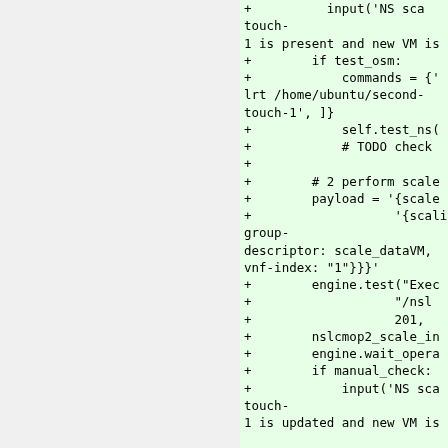[Figure (screenshot): Code diff snippet showing Python test code with green highlighted added lines. Left portion is a blank/grey panel. Right portion shows green-highlighted code lines with '+' prefix, including input(), if test_osm, commands, self.test_ns(), TODO check, payload, engine.test(), engine.wait_opera, if manual_check, and input() calls.]